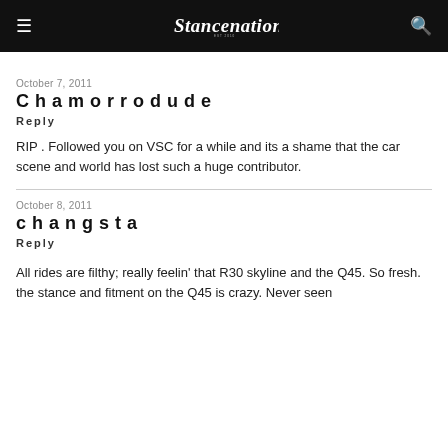StanceNation
October 7, 2011
Chamorrodude
Reply
RIP . Followed you on VSC for a while and its a shame that the car scene and world has lost such a huge contributor.
October 8, 2011
changsta
Reply
All rides are filthy; really feelin' that R30 skyline and the Q45. So fresh. the stance and fitment on the Q45 is crazy. Never seen